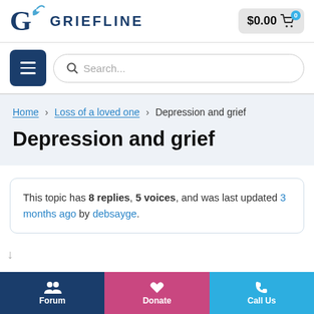GRIEFLINE — $0.00 cart
[Figure (logo): Griefline logo with stylized G and leaf icon, text GRIEFLINE]
Search...
Home › Loss of a loved one › Depression and grief
Depression and grief
This topic has 8 replies, 5 voices, and was last updated 3 months ago by debsayge.
Forum | Donate | Call Us